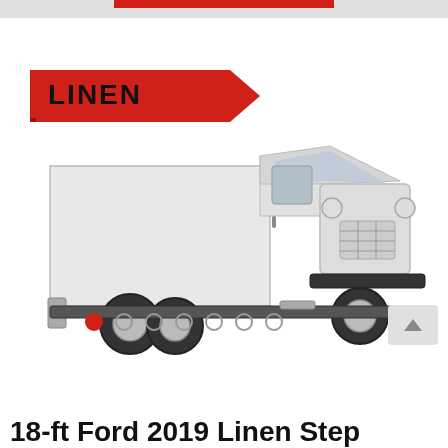[Figure (photo): Red ribbon banner with the word LINEN in bold black text on a red angled ribbon/flag shape]
[Figure (photo): White 18-ft Ford 2019 step van / delivery truck, three-quarter front view on white background]
[Figure (other): Pagination dots row: one filled red dot followed by six hollow/outline circles, with a scroll-to-top arrow button on the right]
18-ft Ford 2019 Linen Step